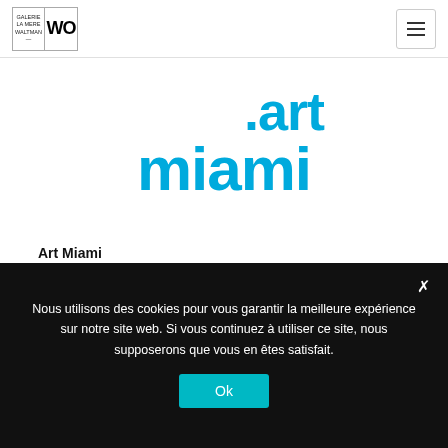Galerie WO logo and navigation menu
[Figure (logo): Art Miami logo in cyan/turquoise bold rounded font with '.art' on top right and 'miami' below]
Art Miami
2 – 7 décembre 2014
www.art-miami.com
Nous utilisons des cookies pour vous garantir la meilleure expérience sur notre site web. Si vous continuez à utiliser ce site, nous supposerons que vous en êtes satisfait.